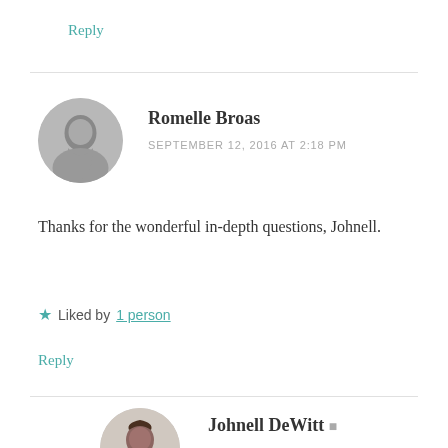Reply
Romelle Broas
SEPTEMBER 12, 2016 AT 2:18 PM
[Figure (photo): Circular avatar photo of Romelle Broas, a woman with dark hair, in black and white]
Thanks for the wonderful in-depth questions, Johnell.
★ Liked by 1 person
Reply
Johnell DeWitt
SEPTEMBER 12, 2016 AT 3:38 PM
[Figure (photo): Circular avatar photo of Johnell DeWitt, a woman with dark curly hair wearing a red top]